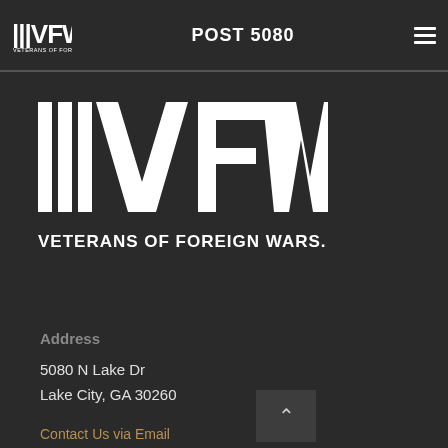VFW VETERANS OF FOREIGN WARS. POST 5080
[Figure (logo): VFW Veterans of Foreign Wars large white logo on dark background]
Address
5080 N Lake Dr
Lake City, GA 30260
Contact Us via Email